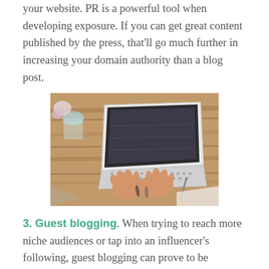your website. PR is a powerful tool when developing exposure. If you can get great content published by the press, that'll go much further in increasing your domain authority than a blog post.
[Figure (photo): Overhead view of a person typing on a laptop computer placed on a wooden desk, with a glass of water, pen, and papers visible.]
3. Guest blogging. When trying to reach more niche audiences or tap into an influencer's following, guest blogging can prove to be superior in driving both brand awareness